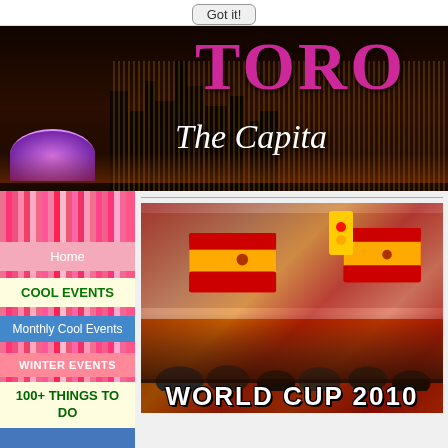Got it!
[Figure (photo): Toronto city banner with skyline at night, purple domed stadium, text TORO and The Capita partially visible]
[Figure (photo): Crowd of people waving Spanish flags on a street, World Cup 2010 celebration in Toronto, traffic light visible in background]
WORLD CUP 2010
Home
COOL EVENTS
Monthly Cool Events
WINTER EVENTS
100+ THINGS TO DO